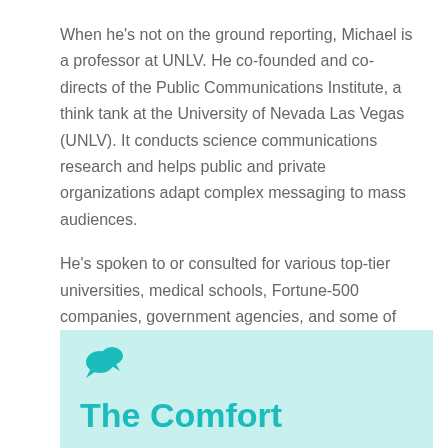When he's not on the ground reporting, Michael is a professor at UNLV. He co-founded and co-directs of the Public Communications Institute, a think tank at the University of Nevada Las Vegas (UNLV). It conducts science communications research and helps public and private organizations adapt complex messaging to mass audiences.
He's spoken to or consulted for various top-tier universities, medical schools, Fortune-500 companies, government agencies, and some of the country's largest nonprofits.
[Figure (illustration): Teal/light-cyan background box with a teal speech bubble icon and partial bold teal title text reading 'The Comfort' (cut off at bottom)]